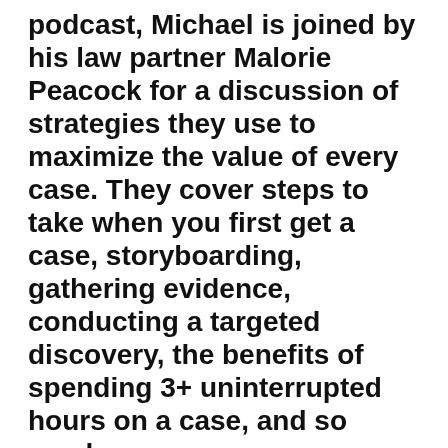podcast, Michael is joined by his law partner Malorie Peacock for a discussion of strategies they use to maximize the value of every case. They cover steps to take when you first get a case, storyboarding, gathering evidence, conducting a targeted discovery, the benefits of spending 3+ uninterrupted hours on a case, and so much more.
Michael and Malorie start off the episode with a conversation about what you should do when you